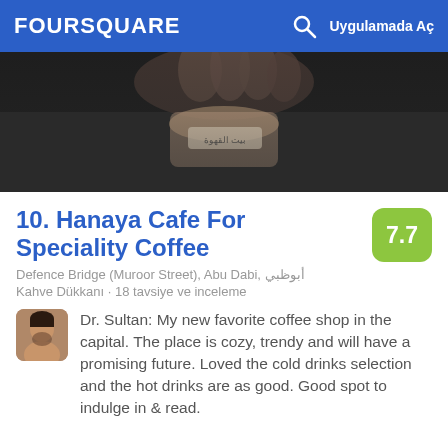FOURSQUARE | Uygulamada Aç
[Figure (photo): Close-up photo of a hand holding a coffee cup with Arabic text label, dark background]
10. Hanaya Cafe For Speciality Coffee
Defence Bridge (Muroor Street), Abu Dabi, أبوظبي
Kahve Dükkanı · 18 tavsiye ve inceleme
Dr. Sultan: My new favorite coffee shop in the capital. The place is cozy, trendy and will have a promising future. Loved the cold drinks selection and the hot drinks are as good. Good spot to indulge in & read.